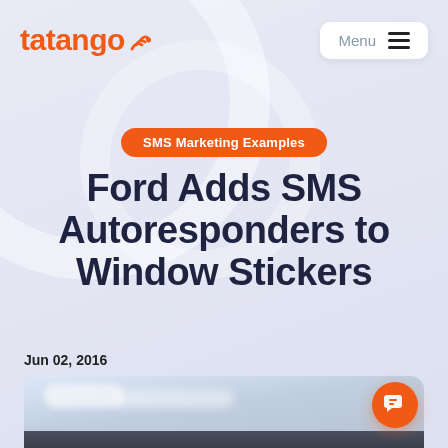tatango — Menu
SMS Marketing Examples
Ford Adds SMS Autoresponders to Window Stickers
Jun 02, 2016
[Figure (photo): Hero image showing a car against a cloudy sky background]